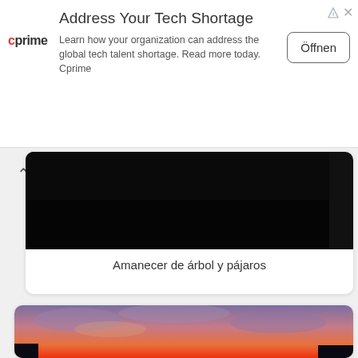[Figure (other): Advertisement banner for Cprime with logo, title 'Address Your Tech Shortage', body text, and Öffnen button]
[Figure (photo): Partially visible dark image (tree silhouette/dawn scene) with caption 'Amanecer de árbol y pájaros']
Amanecer de árbol y pájaros
[Figure (photo): Colorful sunset sky photo with purple/pink/orange clouds and tree silhouettes at bottom, card partially visible]